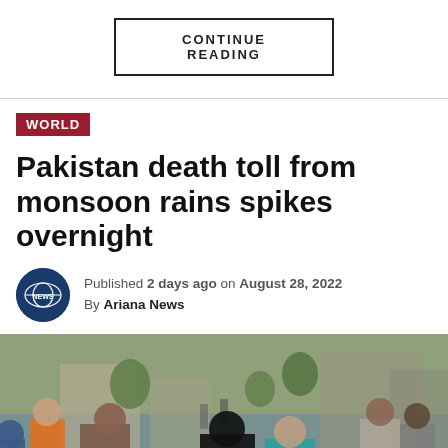CONTINUE READING
WORLD
Pakistan death toll from monsoon rains spikes overnight
Published 2 days ago on August 28, 2022
By Ariana News
[Figure (photo): Flood rescue scene in Pakistan showing people being evacuated by boat through flooded streets, with a man lifting a baby in an orange outfit and a woman in a black hijab seated on the boat, with other people and flooded buildings in the background.]